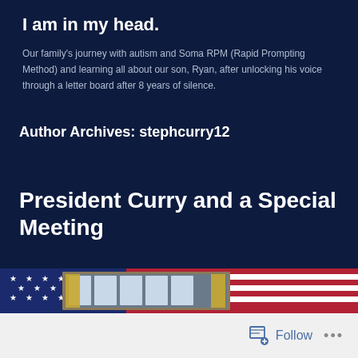I am in my head.
Our family's journey with autism and Soma RPM (Rapid Prompting Method) and learning all about our son, Ryan, after unlocking his voice through a letter board after 8 years of silence.
Author Archives: stephcurry12
President Curry and a Special Meeting
[Figure (photo): Composite image: American flag with stars and red stripes in background; inset photo showing what appears to be a formal meeting room or White House interior with golden curtains and windows.]
Follow  •••